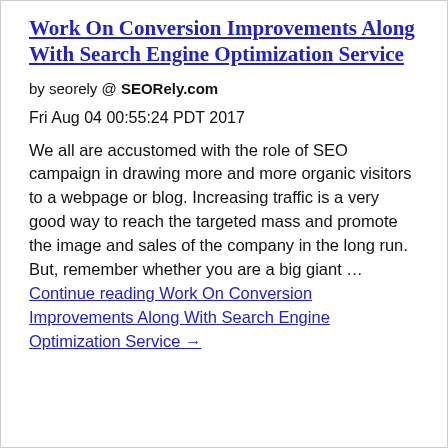Work On Conversion Improvements Along With Search Engine Optimization Service
by seorely @ SEORely.com
Fri Aug 04 00:55:24 PDT 2017
We all are accustomed with the role of SEO campaign in drawing more and more organic visitors to a webpage or blog. Increasing traffic is a very good way to reach the targeted mass and promote the image and sales of the company in the long run. But, remember whether you are a big giant … Continue reading Work On Conversion Improvements Along With Search Engine Optimization Service →